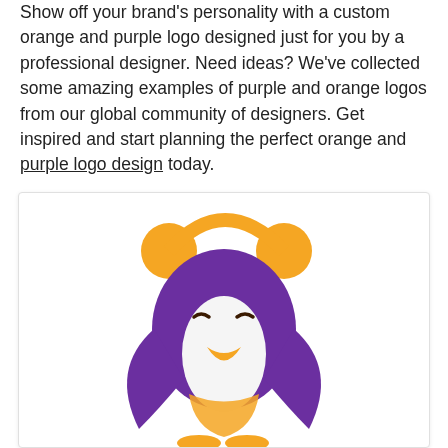Show off your brand's personality with a custom orange and purple logo designed just for you by a professional designer. Need ideas? We've collected some amazing examples of purple and orange logos from our global community of designers. Get inspired and start planning the perfect orange and purple logo design today.
[Figure (illustration): A cartoon penguin illustration with a purple body, white chest, orange beak and eyelashes (closed eyes), wearing orange earmuffs, looking upward to the right in a cheerful pose.]